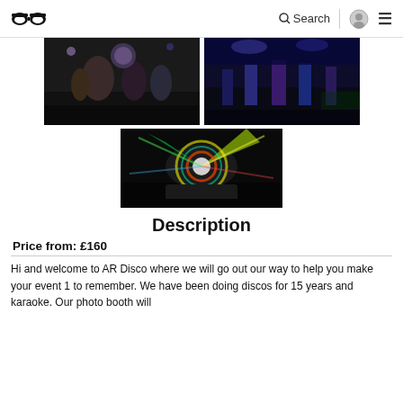AR Disco website header with logo, Search, profile icon, and menu
[Figure (photo): Two photos side by side: left shows people dancing at a disco party with colorful lights; right shows people dancing with blue/purple neon lights.]
[Figure (photo): Photo of spinning colorful disco light with green, yellow, red, and blue light beams.]
Description
Price from: £160
Hi and welcome to AR Disco where we will go out our way to help you make your event 1 to remember. We have been doing discos for 15 years and karaoke. Our photo booth will